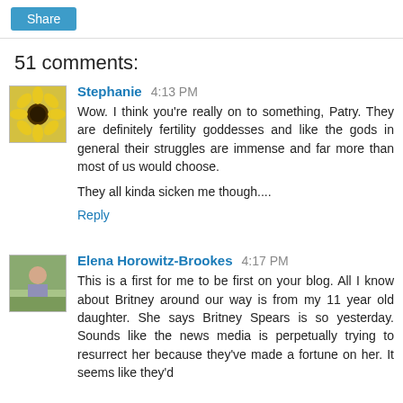[Figure (other): Share button - blue rounded rectangle button with white text 'Share']
51 comments:
[Figure (photo): Avatar image of a sunflower]
Stephanie 4:13 PM
Wow. I think you're really on to something, Patry. They are definitely fertility goddesses and like the gods in general their struggles are immense and far more than most of us would choose.

They all kinda sicken me though....
Reply
[Figure (photo): Avatar image of a person outdoors]
Elena Horowitz-Brookes 4:17 PM
This is a first for me to be first on your blog. All I know about Britney around our way is from my 11 year old daughter. She says Britney Spears is so yesterday. Sounds like the news media is perpetually trying to resurrect her because they've made a fortune on her. It seems like they'd...